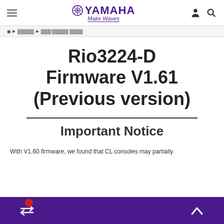Yamaha Make Waves — navigation header
◀ ▶ [breadcrumb] ▶ [breadcrumb] ▶ [breadcrumb]
Rio3224-D Firmware V1.61 (Previous version)
Important Notice
With V1.60 firmware, we found that CL consoles may partially